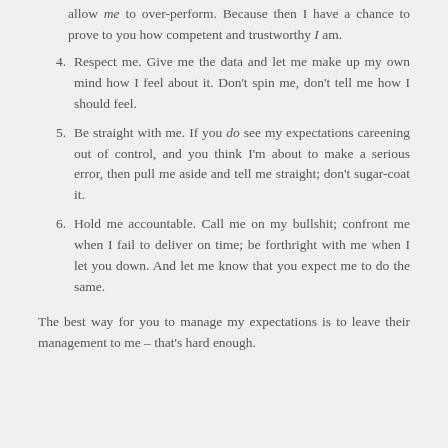allow me to over-perform. Because then I have a chance to prove to you how competent and trustworthy I am.
4. Respect me. Give me the data and let me make up my own mind how I feel about it. Don't spin me, don't tell me how I should feel.
5. Be straight with me. If you do see my expectations careening out of control, and you think I'm about to make a serious error, then pull me aside and tell me straight; don't sugar-coat it.
6. Hold me accountable. Call me on my bullshit; confront me when I fail to deliver on time; be forthright with me when I let you down. And let me know that you expect me to do the same.
The best way for you to manage my expectations is to leave their management to me – that's hard enough.